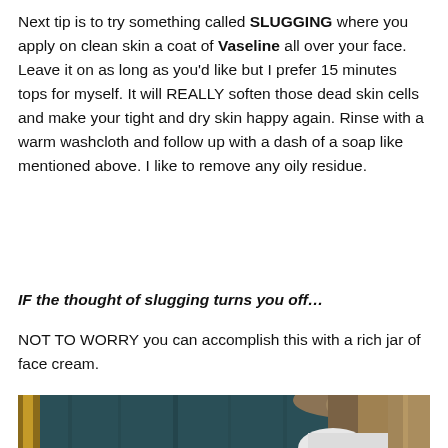Next tip is to try something called SLUGGING where you apply on clean skin a coat of Vaseline all over your face. Leave it on as long as you'd like but I prefer 15 minutes tops for myself. It will REALLY soften those dead skin cells and make your tight and dry skin happy again. Rinse with a warm washcloth and follow up with a dash of a soap like mentioned above. I like to remove any oily residue.
IF the thought of slugging turns you off…
NOT TO WORRY you can accomplish this with a rich jar of face cream.
[Figure (photo): A person with long blonde hair seen from behind, standing near a mirror and teal curtain, wearing a white top.]